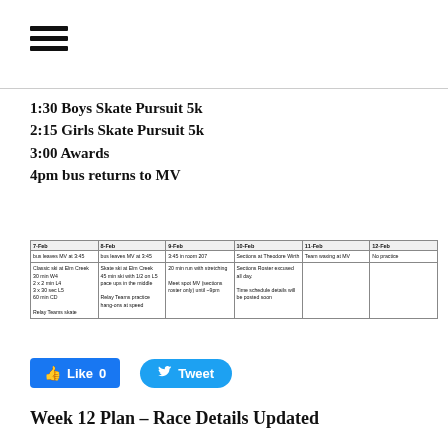[Figure (other): Hamburger menu icon with three horizontal lines]
1:30 Boys Skate Pursuit 5k
2:15 Girls Skate Pursuit 5k
3:00 Awards
4pm bus returns to MV
| 7-Feb | 8-Feb | 9-Feb | 10-Feb | 11-Feb | 12-Feb |
| --- | --- | --- | --- | --- | --- |
| bus leaves MV at 3:45 | bus leaves MV at 3:45 | 3:45 in room 207 | Sections at Theodore Wirth | Team waxing at MV | No practice |
| Classic ski at Elm Creek
30 min W4
2 x 2 min L4
3 x 30 sec L5
60 min CD

Relay Teams skate | Skate ski at Elm Creek
45 min ski with 1⁄2 on L5 pace ups in the middle

Relay Teams practice hang-ons at speed | 20 min run with stretching

Meet spot MV (sections roster only) until ~9pm | Sections Roster excused all day.

Time schedule details will be posted soon |  |  |
[Figure (other): Like button (Facebook) showing Like 0]
[Figure (other): Tweet button (Twitter)]
Week 12 Plan - Race Details Updated